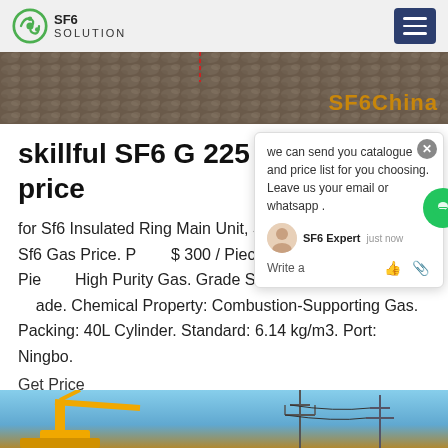SF6 SOLUTION
[Figure (photo): Banner photo of rocky/gravel terrain with SF6China text overlay in orange]
skillful SF6 G 225 s service price
for Sf6 Insulated Ring Main Unit, Sulfur Hexafluoride Sale, Sf6 Gas Price. Price: $ 300 / Piece. Min. Order: 20 Pieces. High Purity Gas. Grade Standard: Electronic Grade. Chemical Property: Combustion-Supporting Gas. Packing: 40L Cylinder. Standard: 6.14 kg/m3. Port: Ningbo.
Get Price
[Figure (screenshot): Chat popup overlay with SF6 Expert agent - text says 'we can send you catalogue and price list for you choosing. Leave us your email or whatsapp.' with close button, agent avatar, and write area with like and attachment icons]
[Figure (photo): Bottom strip image showing blue sky with construction equipment/cranes and power line structures]